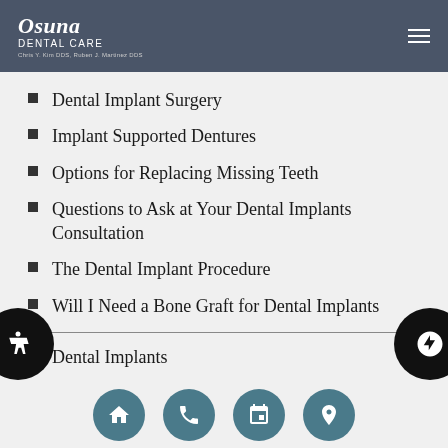Osuna Dental Care — Chris Y. Kim DDS, Ruben J. Martinez DDS
Dental Implant Surgery
Implant Supported Dentures
Options for Replacing Missing Teeth
Questions to Ask at Your Dental Implants Consultation
The Dental Implant Procedure
Will I Need a Bone Graft for Dental Implants
Dental Implants
Implant Supported Dentures